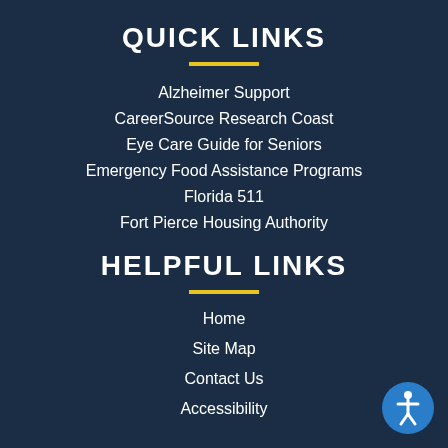QUICK LINKS
Alzheimer Support
CareerSource Research Coast
Eye Care Guide for Seniors
Emergency Food Assistance Programs
Florida 511
Fort Pierce Housing Authority
HELPFUL LINKS
Home
Site Map
Contact Us
Accessibility